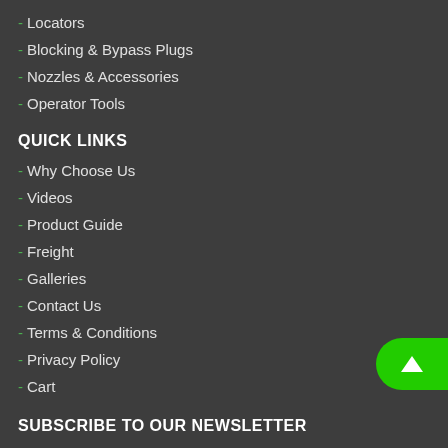- Locators
- Blocking & Bypass Plugs
- Nozzles & Accessories
- Operator Tools
QUICK LINKS
- Why Choose Us
- Videos
- Product Guide
- Freight
- Galleries
- Contact Us
- Terms & Conditions
- Privacy Policy
- Cart
SUBSCRIBE TO OUR NEWSLETTER
Subscribe to our newsletter for industry news, new products and special offers.